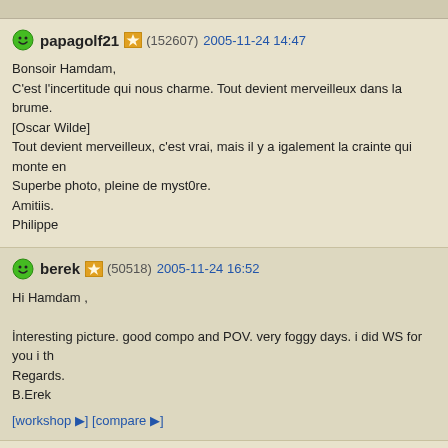papagolf21 (152607) 2005-11-24 14:47 — Bonsoir Hamdam, C'est l'incertitude qui nous charme. Tout devient merveilleux dans la brume. [Oscar Wilde] Tout devient merveilleux, c'est vrai, mais il y a igalement la crainte qui monte en Superbe photo, pleine de myst0re. Amitiis. Philippe
berek (50518) 2005-11-24 16:52 — Hi Hamdam , Interesting picture. good compo and POV. very foggy days. i did WS for you i th Regards. B.Erek [workshop ▶] [compare ▶]
feather (51130) 2005-11-25 8:35 — My goodness! Cable cars are scary at the best of times but to venture up in one admiration. I like the way the cables just disappear into the void......